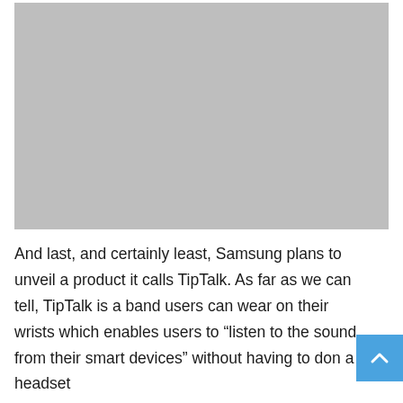[Figure (photo): Gray placeholder image rectangle]
And last, and certainly least, Samsung plans to unveil a product it calls TipTalk. As far as we can tell, TipTalk is a band users can wear on their wrists which enables users to “listen to the sound from their smart devices” without having to don a headset